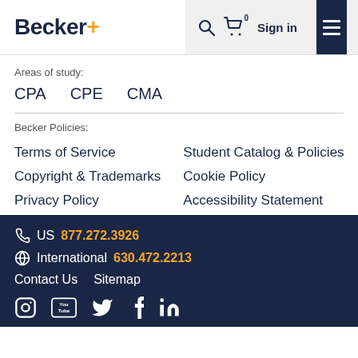Becker+ [navigation: search, cart (0), Sign in, menu]
Areas of study:
CPA
CPE
CMA
Becker Policies:
Terms of Service
Student Catalog & Policies
Copyright & Trademarks
Cookie Policy
Privacy Policy
Accessibility Statement
US 877.272.3926 | International 630.472.2213 | Contact Us | Sitemap | [social icons: Instagram, YouTube, Twitter, Facebook, LinkedIn]